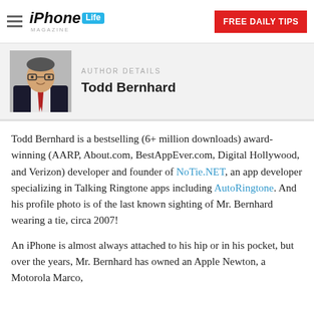iPhone Life Magazine — FREE DAILY TIPS
[Figure (photo): Author headshot of Todd Bernhard, a man in a suit and tie wearing glasses]
AUTHOR DETAILS
Todd Bernhard
Todd Bernhard is a bestselling (6+ million downloads) award-winning (AARP, About.com, BestAppEver.com, Digital Hollywood, and Verizon) developer and founder of NoTie.NET, an app developer specializing in Talking Ringtone apps including AutoRingtone. And his profile photo is of the last known sighting of Mr. Bernhard wearing a tie, circa 2007!
An iPhone is almost always attached to his hip or in his pocket, but over the years, Mr. Bernhard has owned an Apple Newton, a Motorola Marco,